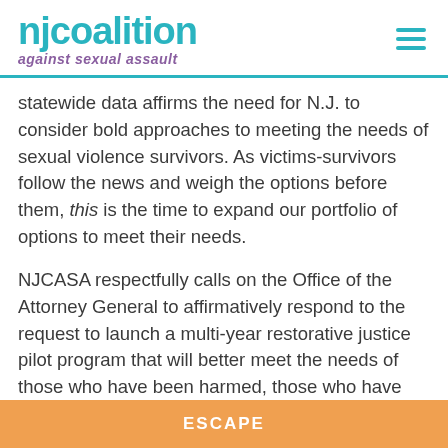nj coalition against sexual assault
statewide data affirms the need for N.J. to consider bold approaches to meeting the needs of sexual violence survivors. As victims-survivors follow the news and weigh the options before them, this is the time to expand our portfolio of options to meet their needs.
NJCASA respectfully calls on the Office of the Attorney General to affirmatively respond to the request to launch a multi-year restorative justice pilot program that will better meet the needs of those who have been harmed, those who have caused harm, and the communities we're collectively called to serve.
ESCAPE